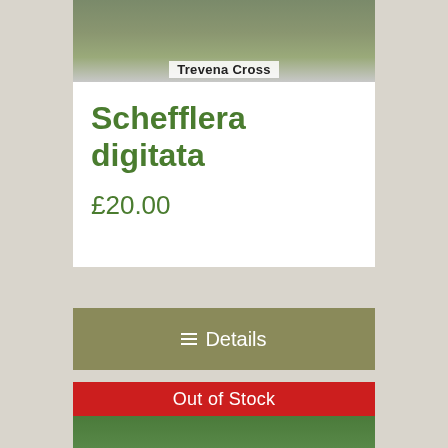[Figure (photo): Photo of plants at Trevena Cross nursery with a white label reading 'Trevena Cross']
Schefflera digitata
£20.00
≡ Details
Out of Stock
[Figure (photo): Photo of pink flowering Pinks plants (Dianthus) with dark label tags, surrounded by green grassy foliage]
Pinks Selection